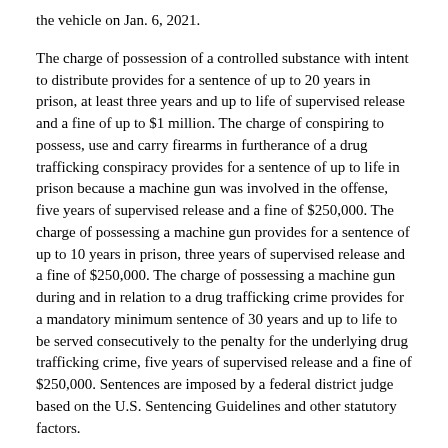the vehicle on Jan. 6, 2021.
The charge of possession of a controlled substance with intent to distribute provides for a sentence of up to 20 years in prison, at least three years and up to life of supervised release and a fine of up to $1 million. The charge of conspiring to possess, use and carry firearms in furtherance of a drug trafficking conspiracy provides for a sentence of up to life in prison because a machine gun was involved in the offense, five years of supervised release and a fine of $250,000. The charge of possessing a machine gun provides for a sentence of up to 10 years in prison, three years of supervised release and a fine of $250,000. The charge of possessing a machine gun during and in relation to a drug trafficking crime provides for a mandatory minimum sentence of 30 years and up to life to be served consecutively to the penalty for the underlying drug trafficking crime, five years of supervised release and a fine of $250,000. Sentences are imposed by a federal district judge based on the U.S. Sentencing Guidelines and other statutory factors.
Acting United States Attorney Nathaniel R. Mendell; Joseph R. Bonavolonta, Special Agent in Charge of the Federal Bureau of Investigation, Boston Field Division; Kelly D. Brady, Special Agent in Charge of the Bureau of Alcohol, Tobacco, Firearms and Explosives, Boston Field Division; Colonel Christopher Mason, Superintendent of the Massachusetts State Police; Roy E. McKinney, Director of the